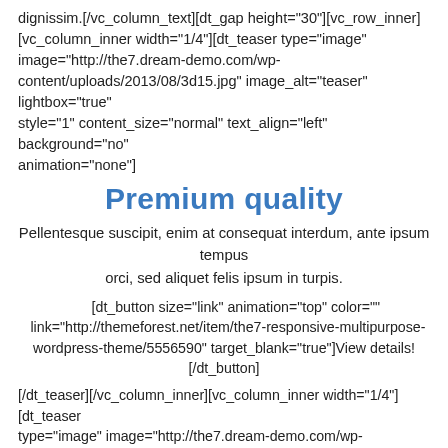dignissim.[/vc_column_text][dt_gap height="30"][vc_row_inner][vc_column_inner width="1/4"][dt_teaser type="image" image="http://the7.dream-demo.com/wp-content/uploads/2013/08/3d15.jpg" image_alt="teaser" lightbox="true" style="1" content_size="normal" text_align="left" background="no" animation="none"]
Premium quality
Pellentesque suscipit, enim at consequat interdum, ante ipsum tempus orci, sed aliquet felis ipsum in turpis.
[dt_button size="link" animation="top" color="" link="http://themeforest.net/item/the7-responsive-multipurpose-wordpress-theme/5556590" target_blank="true"]View details![/dt_button]
[/dt_teaser][/vc_column_inner][vc_column_inner width="1/4"][dt_teaser type="image" image="http://the7.dream-demo.com/wp-content/uploads/2013/08/3d16.jpg" image_alt="teaser" lightbox="true" style="1" content_size="normal" text_align="left" background="no" animation="none"]